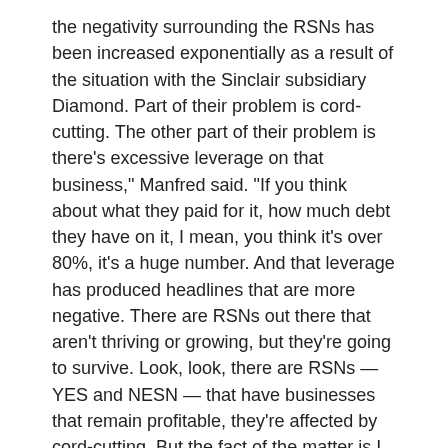the negativity surrounding the RSNs has been increased exponentially as a result of the situation with the Sinclair subsidiary Diamond. Part of their problem is cord-cutting. The other part of their problem is there's excessive leverage on that business," Manfred said. "If you think about what they paid for it, how much debt they have on it, I mean, you think it's over 80%, it's a huge number. And that leverage has produced headlines that are more negative. There are RSNs out there that aren't thriving or growing, but they're going to survive. Look, look, there are RSNs — YES and NESN — that have businesses that remain profitable, they're affected by cord-cutting. But the fact of the matter is I think the negativity has been increased by the Diamond (Sinclair) situation."
In an SEC filing, Sinclair points out that the new Bally streaming service would include gaming, sales of fan-based merchandise, ticketing, collectibles, and other